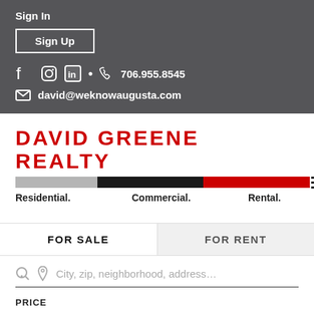Sign In
Sign Up
706.955.8545
david@weknowaugusta.com
DAVID GREENE REALTY
Residential.   Commercial.   Rental.
FOR SALE
FOR RENT
City, zip, neighborhood, address…
PRICE